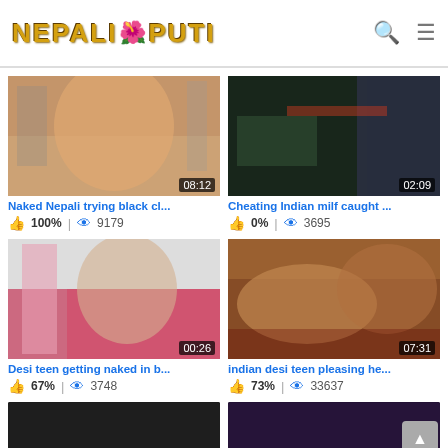NEPALI PUTI
[Figure (screenshot): Video thumbnail 1 - duration 08:12]
Naked Nepali trying black cl...
100% | 9179
[Figure (screenshot): Video thumbnail 2 - duration 02:09]
Cheating Indian milf caught ...
0% | 3695
[Figure (screenshot): Video thumbnail 3 - duration 00:26]
Desi teen getting naked in b...
67% | 3748
[Figure (screenshot): Video thumbnail 4 - duration 07:31]
indian desi teen pleasing he...
73% | 33637
[Figure (screenshot): Video thumbnail 5 - partial]
[Figure (screenshot): Video thumbnail 6 - partial]